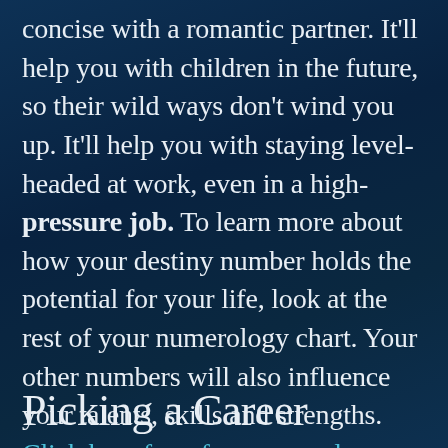concise with a romantic partner. It'll help you with children in the future, so their wild ways don't wind you up. It'll help you with staying level-headed at work, even in a high-pressure job. To learn more about how your destiny number holds the potential for your life, look at the rest of your numerology chart. Your other numbers will also influence your talents, skills and strengths. Click here for a free numerology reading that will explore your personal chart in-depth.
Picking a Career